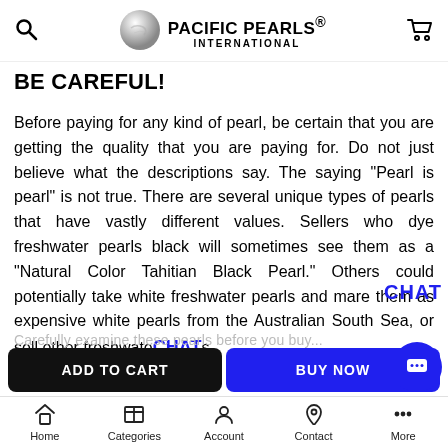PACIFIC PEARLS® INTERNATIONAL
BE CAREFUL!
Before paying for any kind of pearl, be certain that you are getting the quality that you are paying for. Do not just believe what the descriptions say. The saying "Pearl is pearl" is not true. There are several unique types of pearls that have vastly different values. Sellers who dye freshwater pearls black will sometimes see them as a "Natural Color Tahitian Black Pearl." Others could potentially take white freshwater pearls and mare them as expensive white pearls from the Australian South Sea, or sell other freshwater pearls as
ADD TO CART
BUY NOW
Carefully examine these pearls before you buy...
Home  Categories  Account  Contact  More